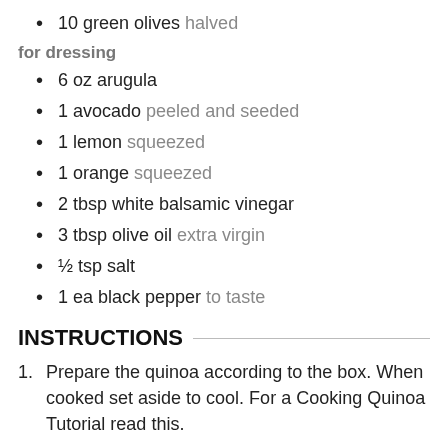10 green olives halved
for dressing
6 oz arugula
1 avocado peeled and seeded
1 lemon squeezed
1 orange squeezed
2 tbsp white balsamic vinegar
3 tbsp olive oil extra virgin
½ tsp salt
1 ea black pepper to taste
INSTRUCTIONS
Prepare the quinoa according to the box. When cooked set aside to cool. For a Cooking Quinoa Tutorial read this.
Put chopped kale, diced celery, grated carrot, shredded red cabbage, quartered cherry tomatoes and halved green olives and cooked and cooled quinoa in a large